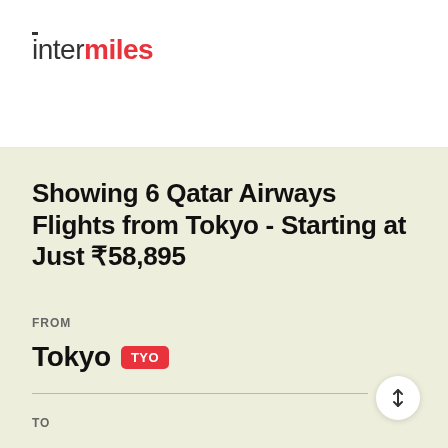intermiles
Showing 6 Qatar Airways Flights from Tokyo - Starting at Just ₹58,895
FROM
Tokyo TYO
TO